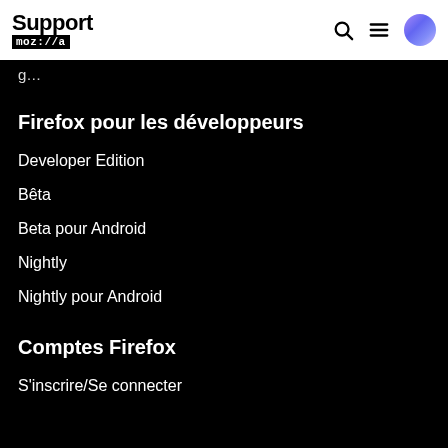Support mozilla//a
g…
Firefox pour les développeurs
Developer Edition
Bêta
Beta pour Android
Nightly
Nightly pour Android
Comptes Firefox
S'inscrire/Se connecter